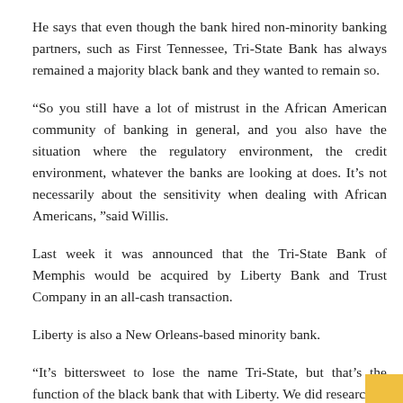He says that even though the bank hired non-minority banking partners, such as First Tennessee, Tri-State Bank has always remained a majority black bank and they wanted to remain so.
“So you still have a lot of mistrust in the African American community of banking in general, and you also have the situation where the regulatory environment, the credit environment, whatever the banks are looking at does. It’s not necessarily about the sensitivity when dealing with African Americans, ”said Willis.
Last week it was announced that the Tri-State Bank of Memphis would be acquired by Liberty Bank and Trust Company in an all-cash transaction.
Liberty is also a New Orleans-based minority bank.
“It’s bittersweet to lose the name Tri-State, but that’s the function of the black bank that with Liberty. We did research to make it stronger with the merger of two black banks. In fact, more loans, more services can be provided, ”said Williamson.